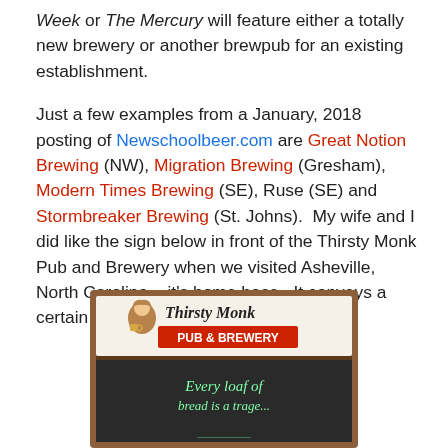Week or The Mercury will feature either a totally new brewery or another brewpub for an existing establishment.

Just a few examples from a January, 2018 posting of Newschoolbeer.com are Great Notion Brewing (NW), Migration Brewing (Gresham), Modern Times Brewing (SE), Ruse (SE) and Stormbreaker Brewing (St. Johns).  My wife and I did like the sign below in front of the Thirsty Monk Pub and Brewery when we visited Asheville, North Carolina – it's home base.  It conveys a certain wisdom!
[Figure (photo): Photo of a sandwich board sign for Thirsty Monk Pub & Brewery. The top portion shows the establishment's logo with a monk illustration and the text 'Thirsty Monk PUB & BREWERY'. The bottom chalkboard portion reads 'Every loaf of [bread is a tragedy]' in green chalk lettering.]